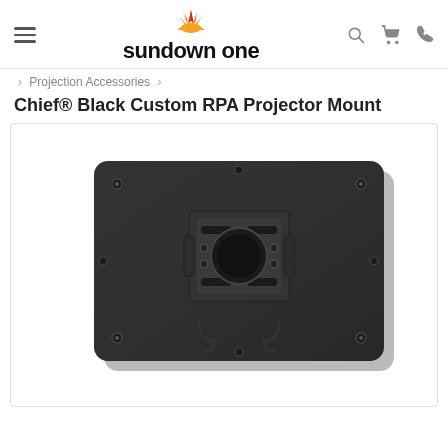sundown one — navigation header with hamburger menu, search, cart, and phone icons
> Projection Accessories >
Chief® Black Custom RPA Projector Mount
[Figure (photo): Black Chief RPA custom projector mount — a rectangular black metal plate with a central circular opening and adjustment bracket assembly with multiple screws and slots]